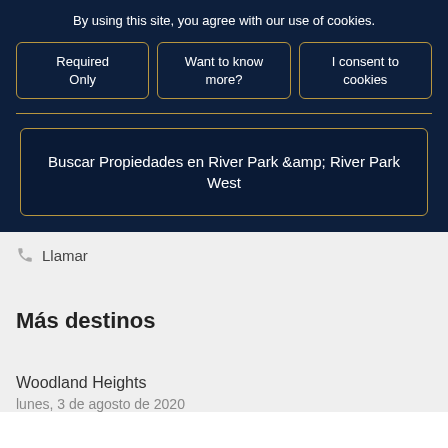By using this site, you agree with our use of cookies.
Required Only
Want to know more?
I consent to cookies
Buscar Propiedades en River Park &amp; River Park West
Llamar
Más destinos
Woodland Heights
lunes, 3 de agosto de 2020